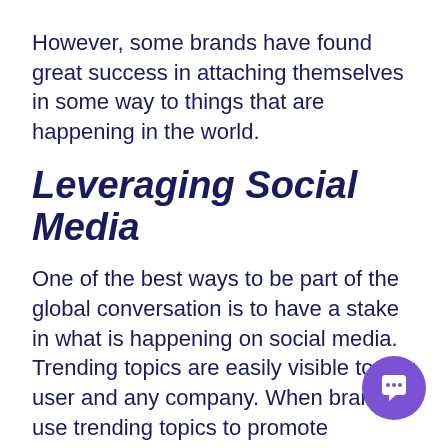However, some brands have found great success in attaching themselves in some way to things that are happening in the world.
Leveraging Social Media
One of the best ways to be part of the global conversation is to have a stake in what is happening on social media. Trending topics are easily visible to any user and any company. When brands use trending topics to promote themselves in a creative way they are often rewarded with a renewed wave of attention. Additionally, some companies are creative enough to come up with their own marketing campaigns that go viral on social media. That is yet another way to get the word out.